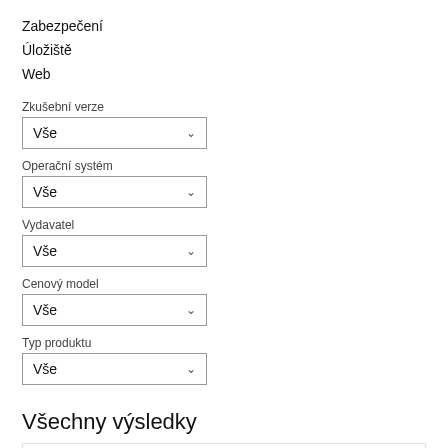Zabezpečení
Úložiště
Web
Zkušební verze
Vše
Operační systém
Vše
Vydavatel
Vše
Cenový model
Vše
Typ produktu
Vše
Všechny výsledky
ZoomCharts Drill Down PRO Visuals for...
Od ZoomCharts